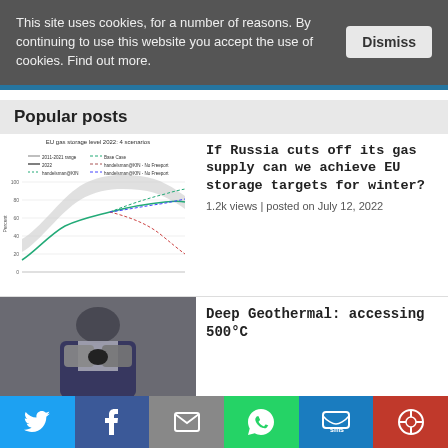This site uses cookies, for a number of reasons. By continuing to use this website you accept the use of cookies. Find out more.
Dismiss
Popular posts
[Figure (line-chart): Line chart showing EU gas storage level 2022 with 4 scenarios including Base Case, 2021-2021 range, 2022, and multiple handelsman scenarios]
If Russia cuts off its gas supply can we achieve EU storage targets for winter?
1.2k views | posted on July 12, 2022
[Figure (photo): Person holding a rock or sample object close to their face]
Deep Geothermal: accessing 500°C